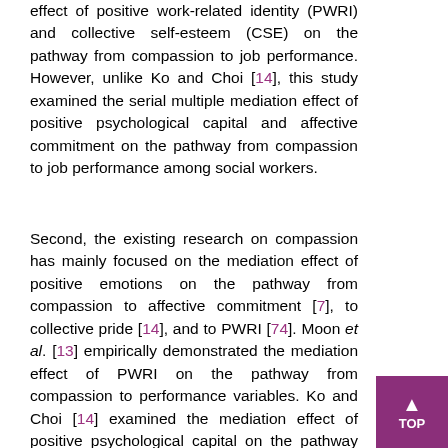effect of positive work-related identity (PWRI) and collective self-esteem (CSE) on the pathway from compassion to job performance. However, unlike Ko and Choi [14], this study examined the serial multiple mediation effect of positive psychological capital and affective commitment on the pathway from compassion to job performance among social workers.
Second, the existing research on compassion has mainly focused on the mediation effect of positive emotions on the pathway from compassion to affective commitment [7], to collective pride [14], and to PWRI [74]. Moon et al. [13] empirically demonstrated the mediation effect of PWRI on the pathway from compassion to performance variables. Ko and Choi [14] examined the mediation effect of positive psychological capital on the pathway between compassion and job performance. Rhee et al. [75] verified the moderating effect